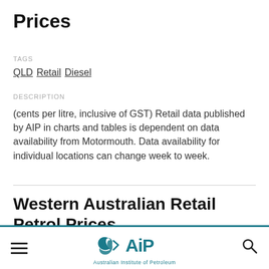Prices
TAGS
QLD Retail Diesel
DESCRIPTION
(cents per litre, inclusive of GST) Retail data published by AIP in charts and tables is dependent on data availability from Motormouth. Data availability for individual locations can change week to week.
Western Australian Retail Petrol Prices
Australian Institute of Petroleum